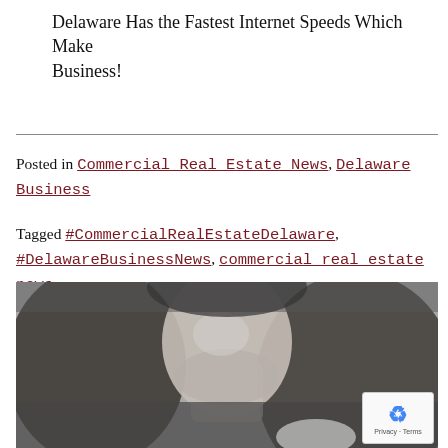Delaware Has the Fastest Internet Speeds Which Make Business!
Posted in Commercial Real Estate News, Delaware Business
Tagged #CommercialRealEstateDelaware, #DelawareBusinessNews, commercial real estate news de, Delaware, professional excellence delaware
[Figure (photo): Black and white photo of a woman with long dark hair, face partially visible, holding something in her hand]